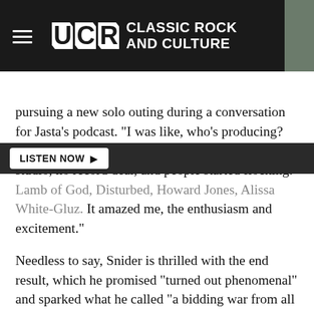UCR CLASSIC ROCK AND CULTURE
LISTEN NOW ▶
pursuing a new solo outing during a conversation for Jasta's podcast. "I was like, who's producing? He said, 'I am,'" he recalled. "So we went in the studio, no record deal, and people started flocking: Lamb of God, Disturbed, Howard Jones, Alissa White-Gluz. It amazed me, the enthusiasm and excitement."
Needless to say, Snider is thrilled with the end result, which he promised "turned out phenomenal" and sparked what he called "a bidding war from all the major metal labels." Snider ultimately opted to go with Napalm Records, and as he told WMSC listeners, the label has For the Love of Metal pegged